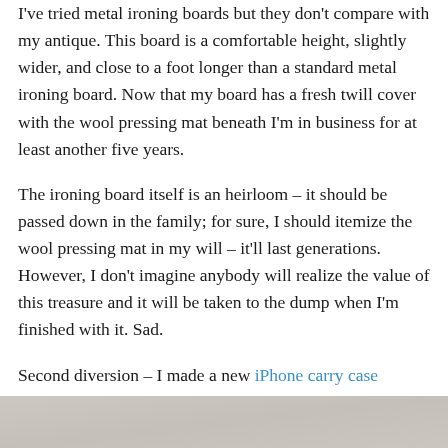I've tried metal ironing boards but they don't compare with my antique. This board is a comfortable height, slightly wider, and close to a foot longer than a standard metal ironing board. Now that my board has a fresh twill cover with the wool pressing mat beneath I'm in business for at least another five years.
The ironing board itself is an heirloom – it should be passed down in the family; for sure, I should itemize the wool pressing mat in my will – it'll last generations. However, I don't imagine anybody will realize the value of this treasure and it will be taken to the dump when I'm finished with it. Sad.
Second diversion – I made a new iPhone carry case yesterday.
[Figure (photo): Bottom strip of a photo, showing a light grey/beige textured surface, partially visible at the bottom of the page.]